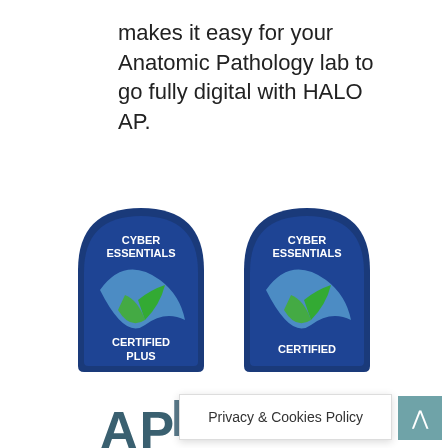makes it easy for your Anatomic Pathology lab to go fully digital with HALO AP.
[Figure (logo): Two Cyber Essentials certification badges side by side: left badge says 'CYBER ESSENTIALS CERTIFIED PLUS', right badge says 'CYBER ESSENTIALS CERTIFIED'. Both are navy blue arch-shaped badges with blue and green checkmark logos.]
HALO
Privacy & Cookies Policy